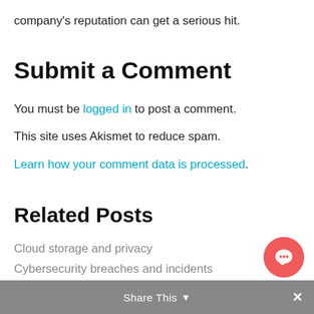company's reputation can get a serious hit.
Submit a Comment
You must be logged in to post a comment.
This site uses Akismet to reduce spam.
Learn how your comment data is processed.
Related Posts
Cloud storage and privacy
Cybersecurity breaches and incidents
Share This ×